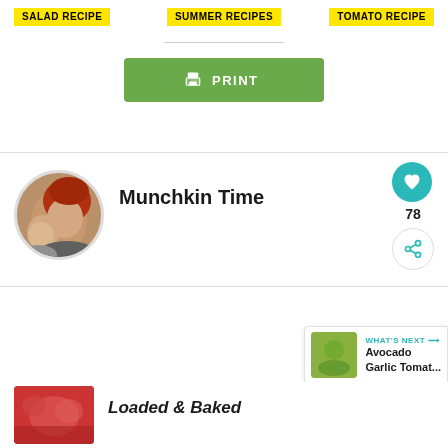SALAD RECIPE
SUMMER RECIPES
TOMATO RECIPE
[Figure (other): Green PRINT button with printer icon]
Munchkin Time
[Figure (photo): Author profile photo circle showing a woman with red hair and a child]
78
WHAT'S NEXT → Avocado Garlic Tomat...
Loaded & Baked